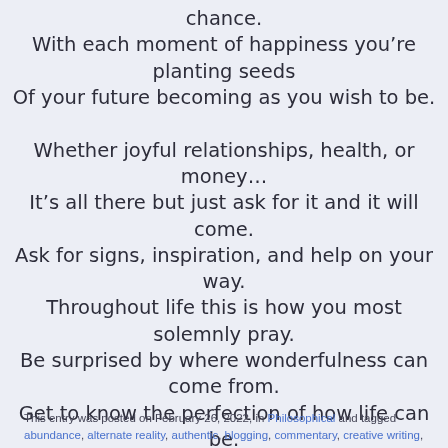chance.
With each moment of happiness you’re planting seeds
Of your future becoming as you wish to be.

Whether joyful relationships, health, or money…
It’s all there but just ask for it and it will come.
Ask for signs, inspiration, and help on your way.
Throughout life this is how you most solemnly pray.
Be surprised by where wonderfulness can come from.
Get to know the perfection of how life can be.
This entry was posted on February 26, 2022, in Philosophical and tagged abundance, alternate reality, authentic, blogging, commentary, creative writing,